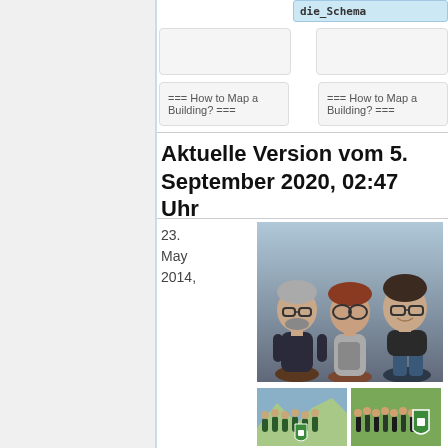die_Schema
=== How to Map a Building? ===
=== How to Map a Building? ===
Aktuelle Version vom 5. September 2020, 02:47 Uhr
23. May 2014,
[Figure (photo): Three cartoon figurines/bobbleheads with realistic photo rendering: one with grey hair and glasses, one with red hat, one with dark hair and glasses]
[Figure (photo): Group photo of people outdoors near mountains with a green OSM shield logo]
[Figure (photo): Group photo of people outdoors on grass with a green OSM shield logo]